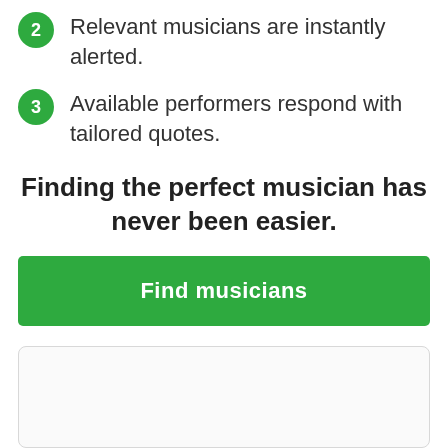2  Relevant musicians are instantly alerted.
3  Available performers respond with tailored quotes.
Finding the perfect musician has never been easier.
Find musicians